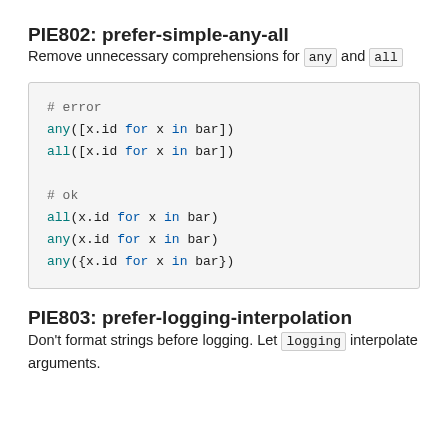PIE802: prefer-simple-any-all
Remove unnecessary comprehensions for any and all
[Figure (screenshot): Code block showing error and ok examples for PIE802: any([x.id for x in bar]), all([x.id for x in bar]) as errors; all(x.id for x in bar), any(x.id for x in bar), any({x.id for x in bar}) as ok]
PIE803: prefer-logging-interpolation
Don't format strings before logging. Let logging interpolate arguments.